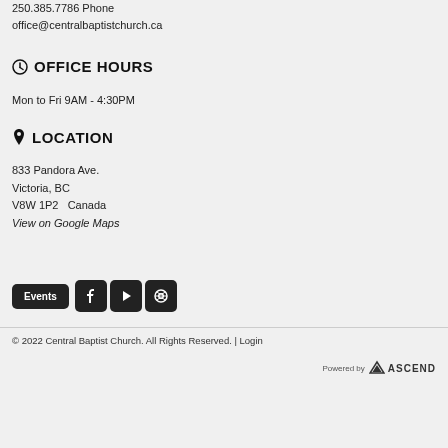250.385.7786 Phone
office@centralbaptistchurch.ca
OFFICE HOURS
Mon to Fri 9AM - 4:30PM
LOCATION
833 Pandora Ave.
Victoria, BC
V8W 1P2   Canada
View on Google Maps
Events
© 2022 Central Baptist Church. All Rights Reserved. | Login
Powered by ASCEND